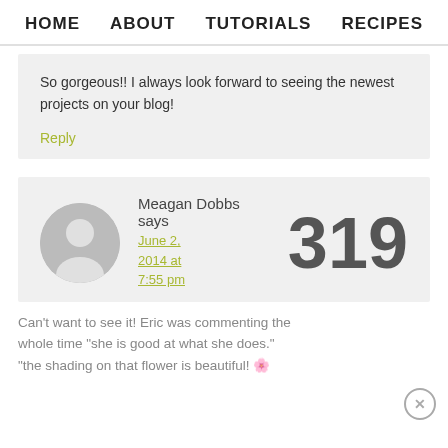HOME  ABOUT  TUTORIALS  RECIPES
So gorgeous!! I always look forward to seeing the newest projects on your blog!
Reply
Meagan Dobbs says
June 2, 2014 at 7:55 pm
319
Can't wait to see it! Eric was commenting the whole time "she is good at what she does." "the shading on that flower is beautiful!"